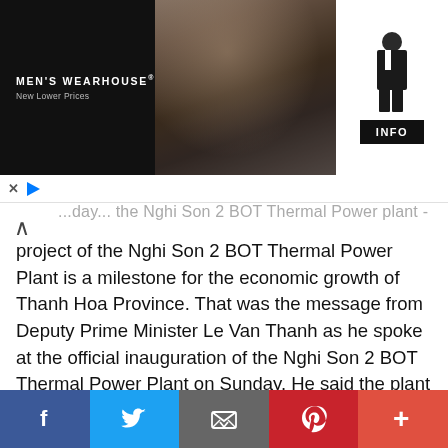[Figure (photo): Men's Wearhouse advertisement banner showing a couple in formal wedding attire (man in dark suit/tuxedo, woman in evening gown) and a standalone male figure in a tuxedo on the right, with an INFO button]
...day... the Nghi Son 2 BOT Thermal Power Plant is a milestone for the economic growth of Thanh Hoa Province. That was the message from Deputy Prime Minister Le Van Thanh as he spoke at the official inauguration of the Nghi Son 2 BOT Thermal Power Plant on Sunday. He said the plant would contribute 7.8 billion KWh of electricity to the national grid per year without causing environmental impacts thanks to its supercritical technology that allows the efficient combustion of
[Figure (other): Social media sharing bar with Facebook, Twitter, Email, Pinterest, and More (+) buttons]